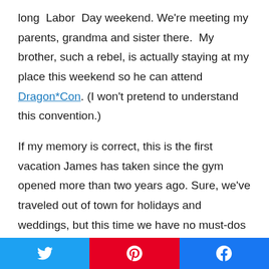long Labor Day weekend. We're meeting my parents, grandma and sister there. My brother, such a rebel, is actually staying at my place this weekend so he can attend Dragon*Con. (I won't pretend to understand this convention.)
If my memory is correct, this is the first vacation James has taken since the gym opened more than two years ago. Sure, we've traveled out of town for holidays and weddings, but this time we have no must-dos on the calendar. I think I'm more excited about James' vacation than he is. Of course, he